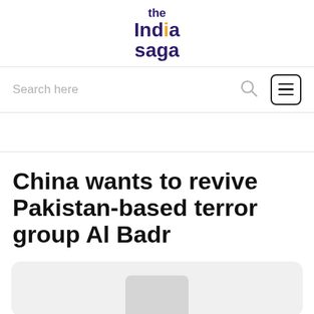the India saga
Search here
China wants to revive Pakistan-based terror group Al Badr
[Figure (photo): Article image placeholder, light gray rounded rectangle with darker gray image icon]